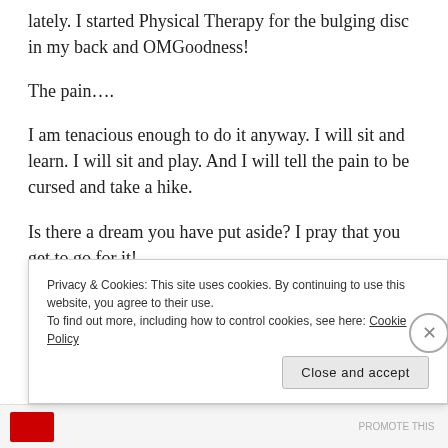lately. I started Physical Therapy for the bulging disc in my back and OMGoodness!
The pain….
I am tenacious enough to do it anyway. I will sit and learn. I will sit and play. And I will tell the pain to be cursed and take a hike.
Is there a dream you have put aside? I pray that you get to go for it!
One day at a time.
Privacy & Cookies: This site uses cookies. By continuing to use this website, you agree to their use. To find out more, including how to control cookies, see here: Cookie Policy
Close and accept